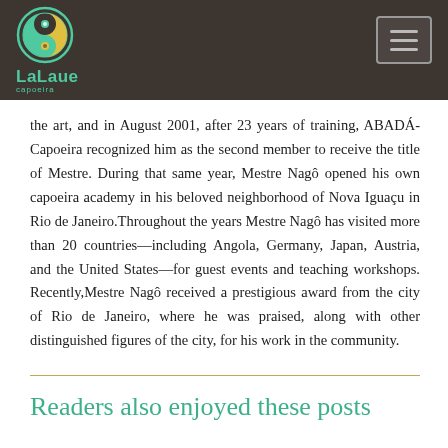[Figure (logo): LaLaue Capoeira logo with yin-yang style circle in teal and yellow, site name 'LaLaue' in teal and subtitle 'capoeira' below, on dark brown background]
the art, and in August 2001, after 23 years of training, ABADÁ-Capoeira recognized him as the second member to receive the title of Mestre. During that same year, Mestre Nagô opened his own capoeira academy in his beloved neighborhood of Nova Iguaçu in Rio de Janeiro.Throughout the years Mestre Nagô has visited more than 20 countries—including Angola, Germany, Japan, Austria, and the United States—for guest events and teaching workshops. Recently,Mestre Nagô received a prestigious award from the city of Rio de Janeiro, where he was praised, along with other distinguished figures of the city, for his work in the community.
Readers also enjoyed these posts